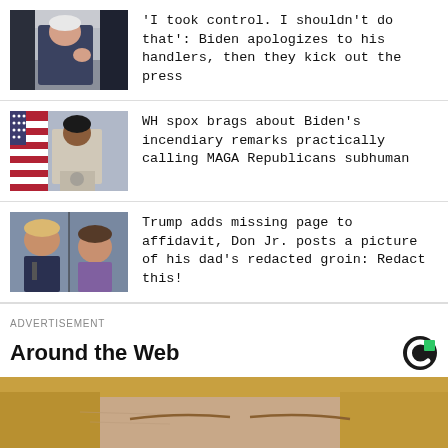[Figure (photo): Biden gesturing with hand at a press briefing]
'I took control. I shouldn't do that': Biden apologizes to his handlers, then they kick out the press
[Figure (photo): White House spokesperson at press podium with US flag]
WH spox brags about Biden's incendiary remarks practically calling MAGA Republicans subhuman
[Figure (photo): Trump and Don Jr. side by side]
Trump adds missing page to affidavit, Don Jr. posts a picture of his dad's redacted groin: Redact this!
ADVERTISEMENT
Around the Web
[Figure (photo): Close-up of a woman's face with blonde hair]